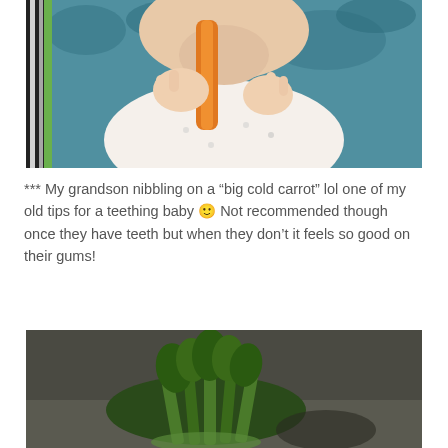[Figure (photo): Baby sitting in a blue patterned bouncer chair, holding and chewing on a large orange carrot stick. The baby is wearing a white onesie with small prints.]
*** My grandson nibbling on a “big cold carrot” lol one of my old tips for a teething baby 🙂 Not recommended though once they have teeth but when they don’t it feels so good on their gums!
[Figure (photo): A bunch of green vegetables (celery or similar leafy greens) on a dark surface, partially cut.]